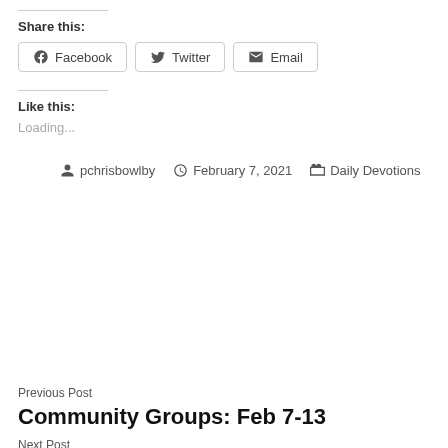Share this:
Facebook  Twitter  Email
Like this:
Loading...
pchrisbowlby  February 7, 2021  Daily Devotions
Previous Post
Community Groups: Feb 7-13
Next Post